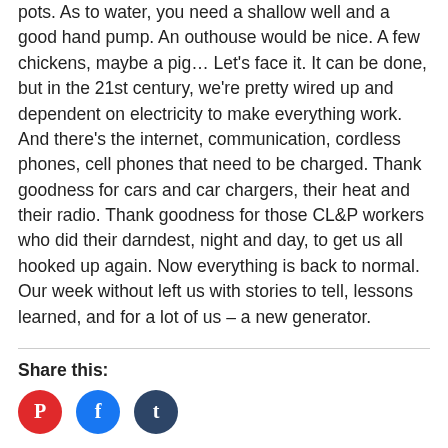pots.  As to water, you need a shallow well and a good hand pump.  An outhouse would be nice.  A few chickens, maybe a pig… Let's face it.  It can be done, but in the 21st century, we're pretty wired up and dependent on electricity to make everything work.  And there's the internet, communication, cordless phones, cell phones that need to be charged.  Thank goodness for cars and car chargers, their heat and their radio.  Thank goodness for those CL&P workers who did their darndest, night and day, to get us all hooked up again.  Now everything is back to normal.  Our week without left us with stories to tell, lessons learned, and for a lot of us – a new generator.
Share this:
[Figure (other): Three social media share icons: Pinterest (red circle with P), Facebook (blue circle with f), Tumblr (dark blue circle with t)]